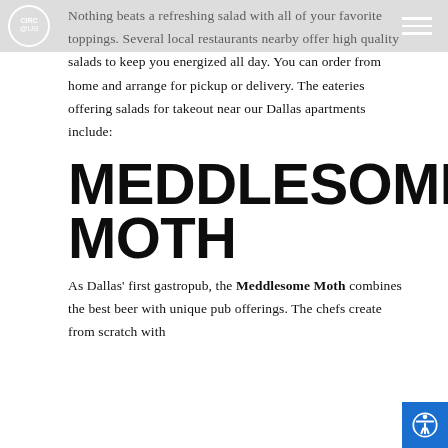CIRC@US logo and navigation menu
Nothing beats a refreshing salad with all of your favorite toppings. Several local restaurants nearby offer high quality salads to keep you energized all day. You can order from home and arrange for pickup or delivery. The eateries offering salads for takeout near our Dallas apartments include:
MEDDLESOME MOTH
As Dallas' first gastropub, the Meddlesome Moth combines the best beer with unique pub offerings. The chefs create from scratch with